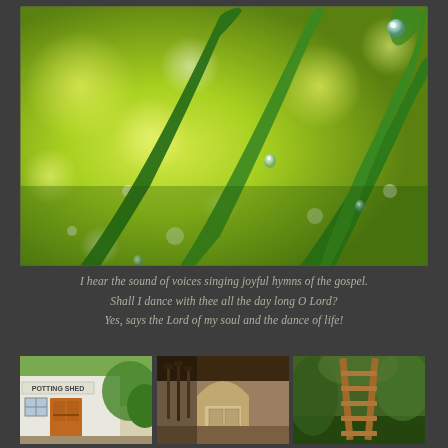[Figure (photo): Close-up macro photograph of green grass blades with water droplets, including a curled blade tip with a single dew drop, set against a blurry bokeh yellow-green background]
I hear the sound of voices singing joyful hymns of the gospel.
Shall I dance with thee all the day long O Lord?
Yes, says the Lord of my soul and the dance of life!
[Figure (photo): Three side-by-side photos: left shows exterior of a white building with a sign reading 'POTTING SHED' and an orange door; center shows interior of a rustic stone barn or shed with tools hanging; right shows a wooden stepladder leaning against greenery outdoors]